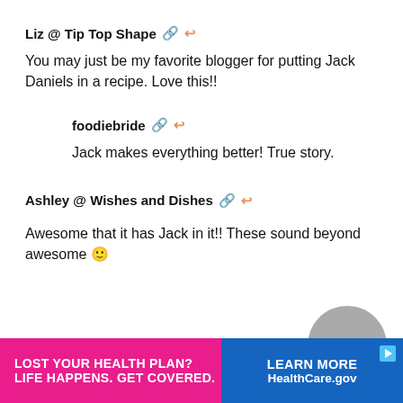Liz @ Tip Top Shape 🔗 ↩
You may just be my favorite blogger for putting Jack Daniels in a recipe. Love this!!
foodiebride 🔗 ↩
Jack makes everything better! True story.
Ashley @ Wishes and Dishes 🔗 ↩
Awesome that it has Jack in it!! These sound beyond awesome 🙂
[Figure (screenshot): Advertisement banner: LOST YOUR HEALTH PLAN? LIFE HAPPENS. GET COVERED. LEARN MORE HealthCare.gov]